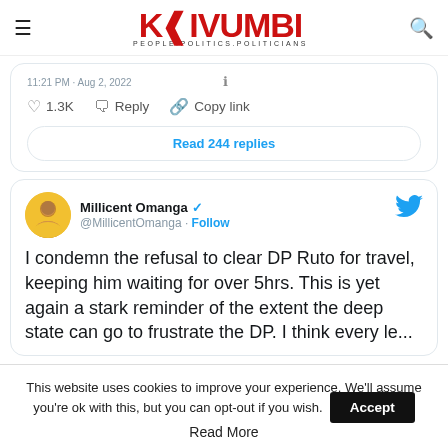KIVUMBI PEOPLE.POLITICS.POLITICIANS
[Figure (screenshot): Partial tweet card showing timestamp '11:21 PM · Aug 2, 2022', heart icon with 1.3K likes, Reply button, Copy link button, and a 'Read 244 replies' button]
[Figure (screenshot): Tweet by Millicent Omanga (@MillicentOmanga) with verified badge and Follow link. Tweet text: 'I condemn the refusal to clear DP Ruto for travel, keeping him waiting for over 5hrs. This is yet again a stark reminder of the extent the deep state can go to frustrate the DP...' (text cut off at bottom)]
This website uses cookies to improve your experience. We'll assume you're ok with this, but you can opt-out if you wish. Accept Read More